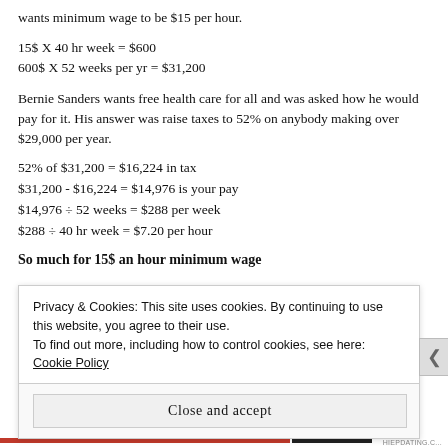wants minimum wage to be $15 per hour.
15$ X 40 hr week = $600
600$ X 52 weeks per yr = $31,200
Bernie Sanders wants free health care for all and was asked how he would pay for it. His answer was raise taxes to 52% on anybody making over $29,000 per year.
52% of $31,200 = $16,224 in tax
$31,200 - $16,224 = $14,976 is your pay
$14,976 ÷ 52 weeks = $288 per week
$288 ÷ 40 hr week = $7.20 per hour
So much for 15$ an hour minimum wage
Privacy & Cookies: This site uses cookies. By continuing to use this website, you agree to their use.
To find out more, including how to control cookies, see here: Cookie Policy
Close and accept